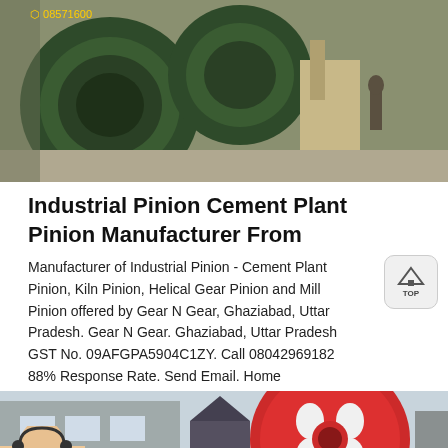[Figure (photo): Industrial cement plant pinion gear machinery, close-up of large green metal gears with workers and construction site in background]
Industrial Pinion Cement Plant Pinion Manufacturer From
Manufacturer of Industrial Pinion - Cement Plant Pinion, Kiln Pinion, Helical Gear Pinion and Mill Pinion offered by Gear N Gear, Ghaziabad, Uttar Pradesh. Gear N Gear. Ghaziabad, Uttar Pradesh GST No. 09AFGPA5904C1ZY. Call 08042969182 88% Response Rate. Send Email. Home
[Figure (photo): Industrial machinery with large red and white circular gear wheel, industrial building in background]
[Figure (other): Message and Online Chat contact bar with agent photo, orange background]